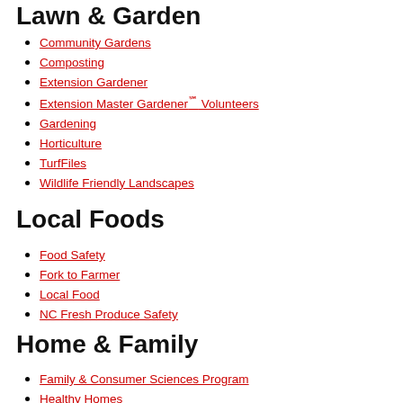Lawn & Garden
Community Gardens
Composting
Extension Gardener
Extension Master Gardener℠ Volunteers
Gardening
Horticulture
TurfFiles
Wildlife Friendly Landscapes
Local Foods
Food Safety
Fork to Farmer
Local Food
NC Fresh Produce Safety
Home & Family
Family & Consumer Sciences Program
Healthy Homes